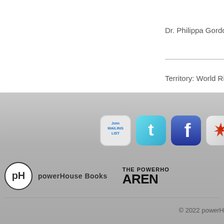Dr. Philippa Gordon
Territory: World Righ
[Figure (logo): Join Mailing List button, Twitter icon, Facebook icon, Yelp icon, Vimeo icon (partial)]
[Figure (logo): powerHouse Books logo with pH circle mark and wordmark]
[Figure (logo): THE POWERHOUSE ARENA logo (partial, cut off)]
© 2022 powerH